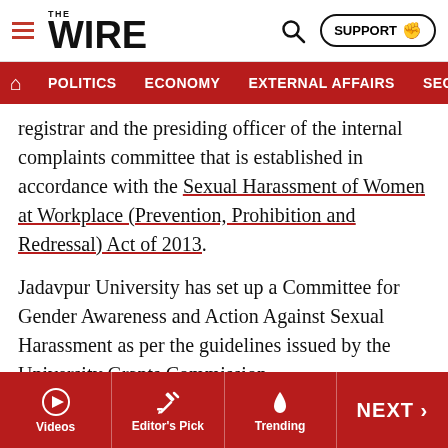THE WIRE
POLITICS  ECONOMY  EXTERNAL AFFAIRS  SECU...
registrar and the presiding officer of the internal complaints committee that is established in accordance with the Sexual Harassment of Women at Workplace (Prevention, Prohibition and Redressal) Act of 2013.
Jadavpur University has set up a Committee for Gender Awareness and Action Against Sexual Harassment as per the guidelines issued by the University Grants Commission.
According to Das, the committee has a head, but the body is missing, since the necessary elections to select those who would constitute the committee have not been held.
Videos  Editor's Pick  Trending  NEXT >